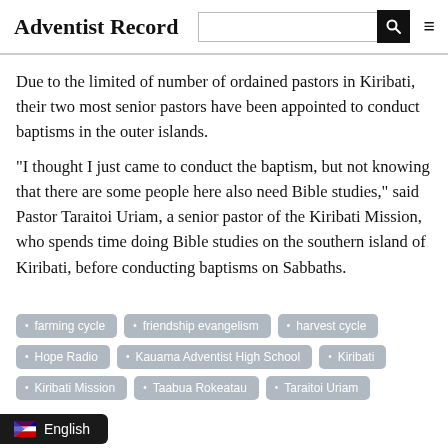Adventist Record
Due to the limited of number of ordained pastors in Kiribati, their two most senior pastors have been appointed to conduct baptisms in the outer islands.
“I thought I just came to conduct the baptism, but not knowing that there are some people here also need Bible studies,” said Pastor Taraitoi Uriam, a senior pastor of the Kiribati Mission, who spends time doing Bible studies on the southern island of Kiribati, before conducting baptisms on Sabbaths.
farming cycle
friendship evangelism
harvest cycle
Hope Radio
Kauama Adventist High School
Kiribati
Kiribati Mission
Taabua Rokeatau
Taraitoi Uriam
English